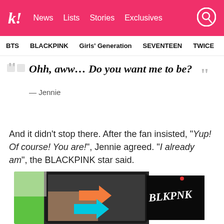k! News  Lists  Stories  Exclusives
BTS  BLACKPINK  Girls' Generation  SEVENTEEN  TWICE
Ohh, aww… Do you want me to be?
— Jennie
And it didn't stop there. After the fan insisted, "Yup! Of course! You are!", Jennie agreed. "I already am", the BLACKPINK star said.
[Figure (photo): A tablet or phone screen showing a video with orange and cyan arrows pointing at something, with a BLACKPINK logo visible on screen. Green background behind the device.]